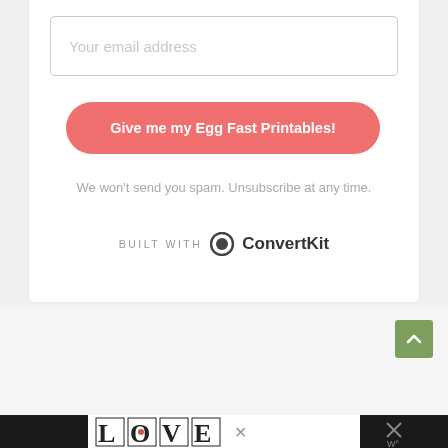Your email address
Give me my Egg Fast Printables!
We won't send you spam. Unsubscribe at any time.
BUILT WITH ConvertKit
[Figure (screenshot): LOVE decorative typographic image at the bottom of the page]
Back to top arrow button and advertisement bar at bottom